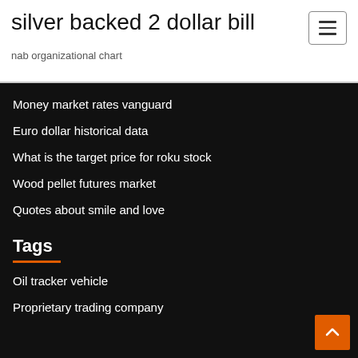silver backed 2 dollar bill
nab organizational chart
Money market rates vanguard
Euro dollar historical data
What is the target price for roku stock
Wood pellet futures market
Quotes about smile and love
Tags
Oil tracker vehicle
Proprietary trading company